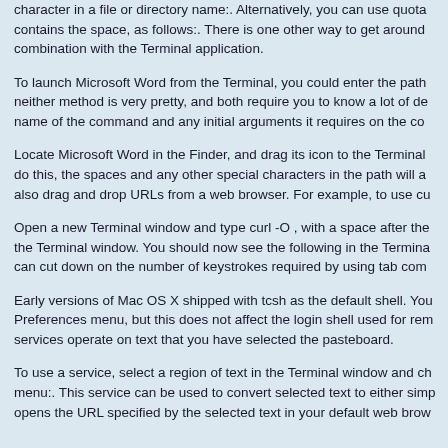character in a file or directory name:. Alternatively, you can use quota contains the space, as follows:. There is one other way to get around combination with the Terminal application.
To launch Microsoft Word from the Terminal, you could enter the path neither method is very pretty, and both require you to know a lot of de name of the command and any initial arguments it requires on the co
Locate Microsoft Word in the Finder, and drag its icon to the Terminal do this, the spaces and any other special characters in the path will a also drag and drop URLs from a web browser. For example, to use cu
Open a new Terminal window and type curl -O , with a space after the the Terminal window. You should now see the following in the Termina can cut down on the number of keystrokes required by using tab com
Early versions of Mac OS X shipped with tcsh as the default shell. You Preferences menu, but this does not affect the login shell used for rem services operate on text that you have selected the pasteboard.
To use a service, select a region of text in the Terminal window and ch menu:. This service can be used to convert selected text to either simp opens the URL specified by the selected text in your default web brow